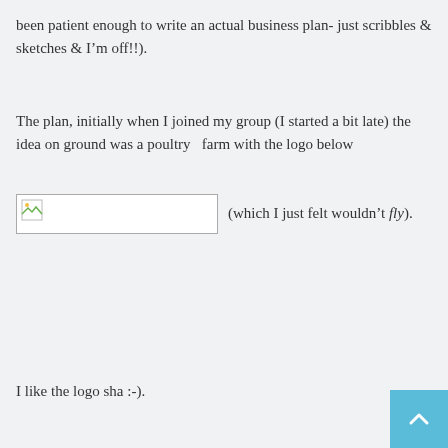been patient enough to write an actual business plan- just scribbles & sketches & I'm off!!).
The plan, initially when I joined my group (I started a bit late) the idea on ground was a poultry  farm with the logo below
[Figure (illustration): Broken image placeholder (logo image that failed to load) followed by inline text: (which I just felt wouldn't fly).]
I like the logo sha :-).